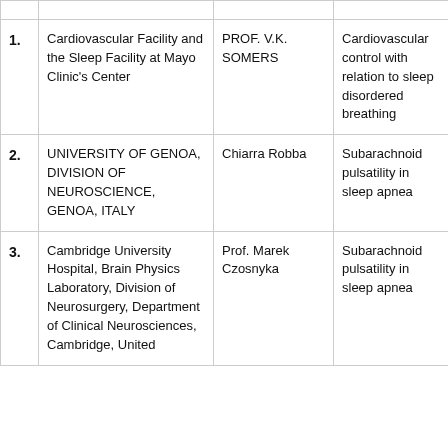| # | Institution | Researcher | Topic |
| --- | --- | --- | --- |
| 1. | Cardiovascular Facility and the Sleep Facility at Mayo Clinic's Center | PROF. V.K. SOMERS | Cardiovascular control with relation to sleep disordered breathing |
| 2. | UNIVERSITY OF GENOA, DIVISION OF NEUROSCIENCE, GENOA, ITALY | Chiarra Robba | Subarachnoid pulsatility in sleep apnea |
| 3. | Cambridge University Hospital, Brain Physics Laboratory, Division of Neurosurgery, Department of Clinical Neurosciences, Cambridge, United... | Prof. Marek Czosnyka | Subarachnoid pulsatility in sleep apnea |